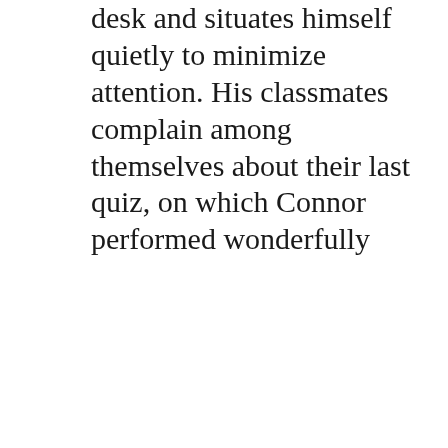desk and situates himself quietly to minimize attention. His classmates complain among themselves about their last quiz, on which Connor performed wonderfully